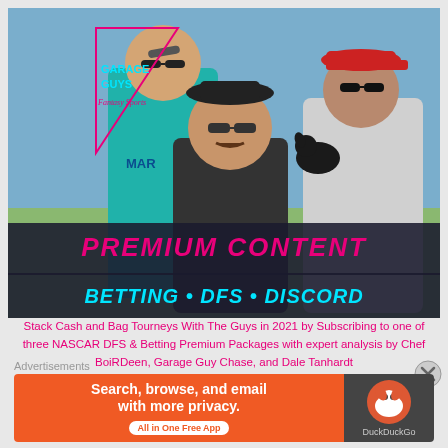[Figure (photo): Promotional image for Garage Guys Fantasy Sports showing three men outdoors. One wears a green Mariners jersey, one wears a dark t-shirt and sunglasses, one wears a gray t-shirt and red cap. A small dog is visible. A retro 80s-style logo reads 'Garage Guys Fantasy Sports' in a pink triangle. Below the photo, a banner reads 'PREMIUM CONTENT' and 'BETTING • DFS • DISCORD' in cyan and pink retro font on a dark background.]
Stack Cash and Bag Tourneys With The Guys in 2021 by Subscribing to one of three NASCAR DFS & Betting Premium Packages with expert analysis by Chef BoiRDeen, Garage Guy Chase, and Dale Tanhardt
Advertisements
[Figure (screenshot): DuckDuckGo advertisement banner: orange left side reads 'Search, browse, and email with more privacy. All in One Free App' with a white pill button. Dark right side shows DuckDuckGo duck logo and 'DuckDuckGo' text.]